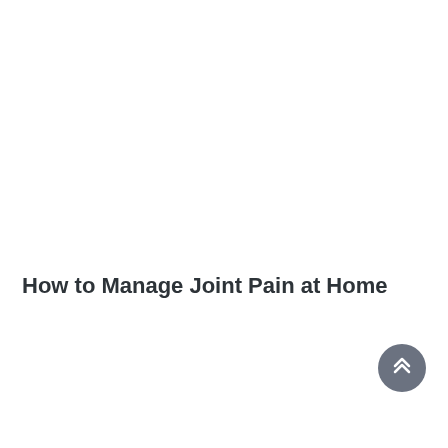How to Manage Joint Pain at Home
[Figure (other): Circular scroll-to-top button with double chevron up arrow icon, dark grey background]